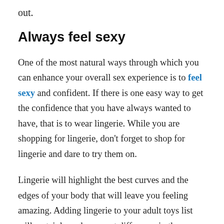out.
Always feel sexy
One of the most natural ways through which you can enhance your overall sex experience is to feel sexy and confident. If there is one easy way to get the confidence that you have always wanted to have, that is to wear lingerie. While you are shopping for lingerie, don't forget to shop for lingerie and dare to try them on.
Lingerie will highlight the best curves and the edges of your body that will leave you feeling amazing. Adding lingerie to your adult toys list will certainly make a great difference in the way that you feel and